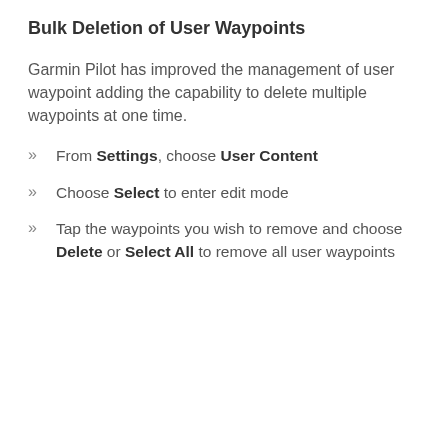Bulk Deletion of User Waypoints
Garmin Pilot has improved the management of user waypoint adding the capability to delete multiple waypoints at one time.
From Settings, choose User Content
Choose Select to enter edit mode
Tap the waypoints you wish to remove and choose Delete or Select All to remove all user waypoints